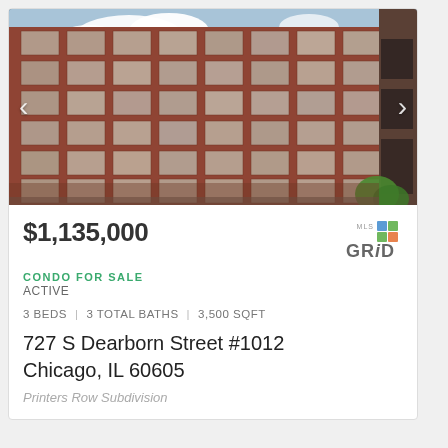[Figure (photo): Exterior photo of a large multi-story red brick building (727 S Dearborn Street, Chicago), viewed from street level. Building has many windows arranged in a grid pattern. Blue sky with clouds visible at top. Navigation arrows on left and right sides of image.]
$1,135,000
CONDO FOR SALE
ACTIVE
3 BEDS | 3 TOTAL BATHS | 3,500 SQFT
727 S Dearborn Street #1012
Chicago, IL 60605
Printers Row Subdivision